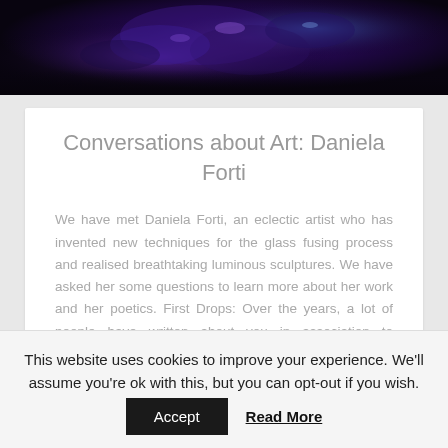[Figure (photo): Dark decorative photo showing purple/blue glass or crystal sculptural forms against a very dark background]
Conversations about Art: Daniela Forti
We have met Daniela Forti, an eclectic artist who has invented new techniques for the glass fusing process and realised breathtaking luminous sculptures. We have asked her some questions to learn more about her work and her poetics. First Drops: Over the years, a lot of people have written about you in association to exhibitions or...
Read all...
This website uses cookies to improve your experience. We'll assume you're ok with this, but you can opt-out if you wish.
Accept   Read More